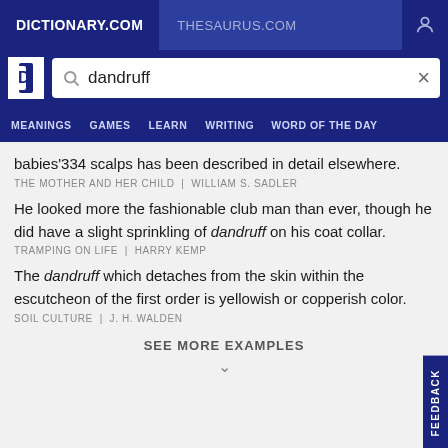DICTIONARY.COM | THESAURUS.COM
[Figure (screenshot): Dictionary.com search bar with 'dandruff' query and navigation menu]
babies'334 scalps has been described in detail elsewhere.
THE MOTHER AND HER CHILD | WILLIAM S. SADLER
He looked more the fashionable club man than ever, though he did have a slight sprinkling of dandruff on his coat collar.
TRAMPING ON LIFE | HARRY KEMP
The dandruff which detaches from the skin within the escutcheon of the first order is yellowish or copperish color.
SOIL CULTURE | J. H. WALDEN
SEE MORE EXAMPLES